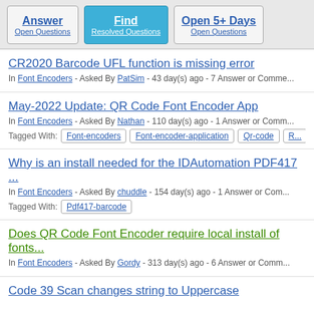[Figure (screenshot): Navigation buttons: Answer Open Questions, Find Resolved Questions (active/highlighted), Open 5+ Days Open Questions]
CR2020 Barcode UFL function is missing error
In Font Encoders - Asked By PatSim - 43 day(s) ago - 7 Answer or Comments
May-2022 Update: QR Code Font Encoder App
In Font Encoders - Asked By Nathan - 110 day(s) ago - 1 Answer or Comments
Tagged With: Font-encoders, Font-encoder-application, Qr-code, R...
Why is an install needed for the IDAutomation PDF417 ...
In Font Encoders - Asked By chuddle - 154 day(s) ago - 1 Answer or Comments
Tagged With: Pdf417-barcode
Does QR Code Font Encoder require local install of fonts...
In Font Encoders - Asked By Gordy - 313 day(s) ago - 6 Answer or Comments
Code 39 Scan changes string to Uppercase